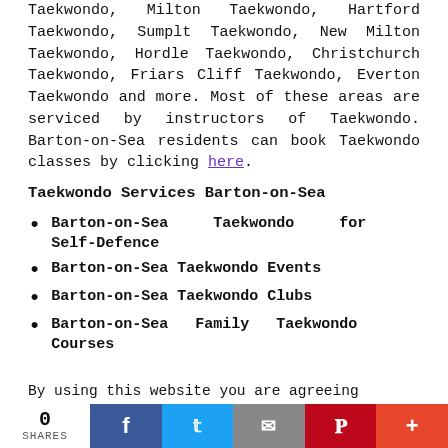Taekwondo, Milton Taekwondo, Hartford Taekwondo, Sumplt Taekwondo, New Milton Taekwondo, Hordle Taekwondo, Christchurch Taekwondo, Friars Cliff Taekwondo, Everton Taekwondo and more. Most of these areas are serviced by instructors of Taekwondo. Barton-on-Sea residents can book Taekwondo classes by clicking here.
Taekwondo Services Barton-on-Sea
Barton-on-Sea Taekwondo for Self-Defence
Barton-on-Sea Taekwondo Events
Barton-on-Sea Taekwondo Clubs
Barton-on-Sea Family Taekwondo Courses
Barton-on-Sea Adult Taekwondo
Barton-on-Sea Taekwondo for Kids
By using this website you are agreeing
0 SHARES